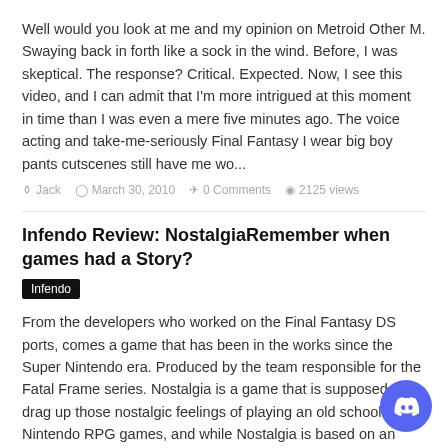Well would you look at me and my opinion on Metroid Other M. Swaying back in forth like a sock in the wind. Before, I was skeptical. The response? Critical. Expected. Now, I see this video, and I can admit that I'm more intrigued at this moment in time than I was even a mere five minutes ago. The voice acting and take-me-seriously Final Fantasy I wear big boy pants cutscenes still have me wo...
Jack  March 30, 2010  0 Comments  2125 views
Infendo Review: NostalgiaRemember when games had a Story?
Infendo
From the developers who worked on the Final Fantasy DS ports, comes a game that has been in the works since the Super Nintendo era. Produced by the team responsible for the Fatal Frame series. Nostalgia is a game that is supposed to drag up those nostalgic feelings of playing an old school Super Nintendo RPG games, and while Nostalgia is based on an alternate 19th-century Earth. Adventuring is a s...
Will Thompson  November 2, 2009  0 Comments  3379 views
Hands On: Nostalgia [DS]